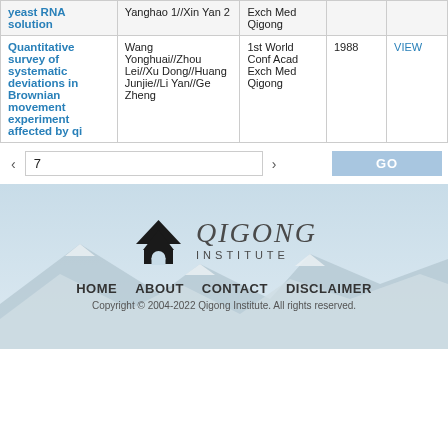| Title | Authors | Journal | Year |  |
| --- | --- | --- | --- | --- |
| yeast RNA solution | Yanghao 1//Xin Yan 2 | Exch Med Qigong |  |  |
| Quantitative survey of systematic deviations in Brownian movement experiment affected by qi | Wang Yonghuai//Zhou Lei//Xu Dong//Huang Junjie//Li Yan//Ge Zheng | 1st World Conf Acad Exch Med Qigong | 1988 | VIEW |
< 7 > GO
[Figure (logo): Qigong Institute logo with pagoda icon and text 'QIGONG INSTITUTE' with footer navigation: HOME ABOUT CONTACT DISCLAIMER. Copyright 2004-2022 Qigong Institute. All rights reserved.]
HOME  ABOUT  CONTACT  DISCLAIMER
Copyright © 2004-2022 Qigong Institute. All rights reserved.